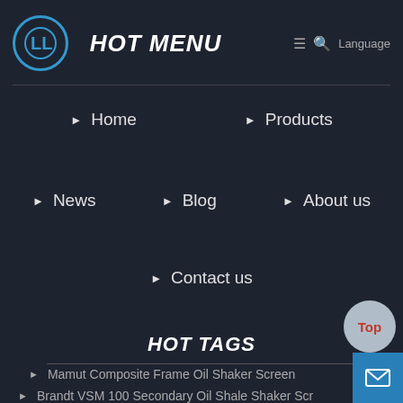HOT MENU
Home
Products
News
Blog
About us
Contact us
HOT TAGS
Mamut Composite Frame Oil Shaker Screen
Brandt VSM 100 Secondary Oil Shale Shaker Screen
Derrick HYP PMD Shaker Scren